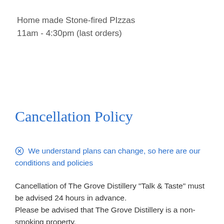Home made Stone-fired PIzzas
11am - 4:30pm (last orders)
Cancellation Policy
⊗ We understand plans can change, so here are our conditions and policies
Cancellation of The Grove Distillery "Talk & Taste" must be advised 24 hours in advance.
Please be advised that The Grove Distillery is a non-smoking property.